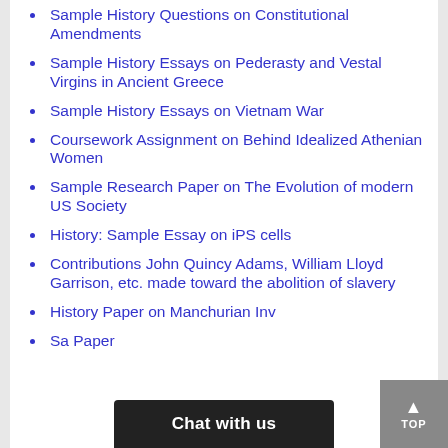Sample History Questions on Constitutional Amendments
Sample History Essays on Pederasty and Vestal Virgins in Ancient Greece
Sample History Essays on Vietnam War
Coursework Assignment on Behind Idealized Athenian Women
Sample Research Paper on The Evolution of modern US Society
History: Sample Essay on iPS cells
Contributions John Quincy Adams, William Lloyd Garrison, etc. made toward the abolition of slavery
History Paper on Manchurian Inv...
Sa... Paper